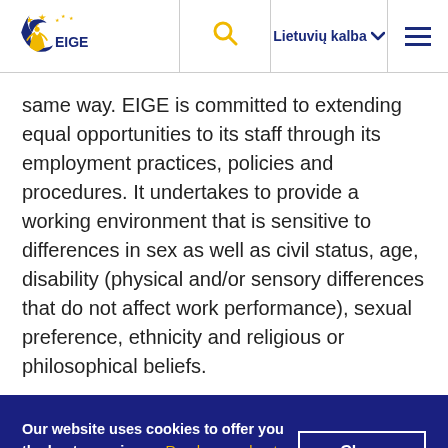EIGE | Lietuvių kalba
same way. EIGE is committed to extending equal opportunities to its staff through its employment practices, policies and procedures. It undertakes to provide a working environment that is sensitive to differences in sex as well as civil status, age, disability (physical and/or sensory differences that do not affect work performance), sexual preference, ethnicity and religious or philosophical beliefs.
Our website uses cookies to offer you the best experience. Read more about cookies and how you can opt out.